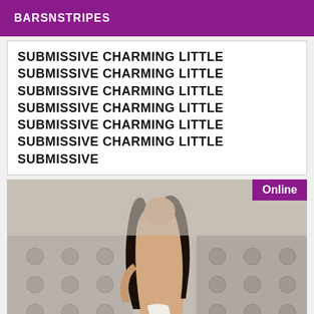BARSNSTRIPES
SUBMISSIVE CHARMING LITTLE SUBMISSIVE CHARMING LITTLE SUBMISSIVE CHARMING LITTLE SUBMISSIVE CHARMING LITTLE SUBMISSIVE CHARMING LITTLE SUBMISSIVE CHARMING LITTLE SUBMISSIVE
[Figure (photo): Young woman with long dark hair sitting on a bed with a tufted headboard, wearing a white top, photographed from behind/side. An 'Online' badge appears in the top-right corner.]